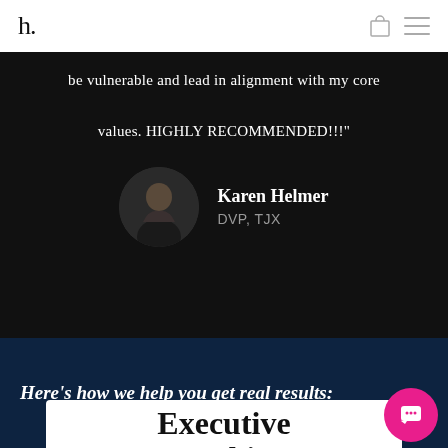h.
be vulnerable and lead in alignment with my core values. HIGHLY RECOMMENDED!!!"
[Figure (photo): Circular photo of Karen Helmer posing against a dark background]
Karen Helmer
DVP, TJX
Here's how we help you get real results:
Executive Coaching